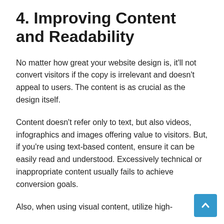4. Improving Content and Readability
No matter how great your website design is, it'll not convert visitors if the copy is irrelevant and doesn't appeal to users. The content is as crucial as the design itself.
Content doesn't refer only to text, but also videos, infographics and images offering value to visitors. But, if you're using text-based content, ensure it can be easily read and understood. Excessively technical or inappropriate content usually fails to achieve conversion goals.
Also, when using visual content, utilize high-